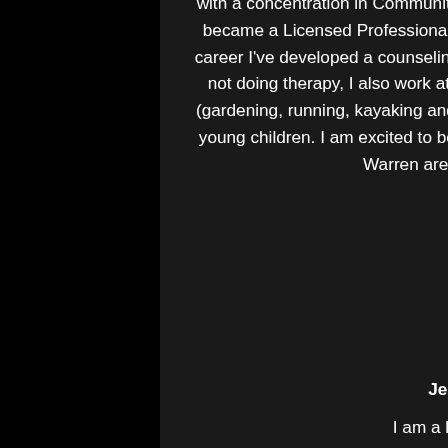...earned my Masters in Science of Education with a concentration in Community Mental Health Counseling at St. Bonaventure University. I became a Licensed Professional Counselor (LPC) in Pennsylvania in 2015. Throughout my career I've developed a counseling focus in the areas of trauma and family therapy. When I'm not doing therapy, I also work at Jamestown Community College. I enjoy outdoor activities (gardening, running, kayaking and hiking) but I mostly spend my time chasing around my two young children. I am excited to be part of the excellent group serving quality treatment to the Warren area through Sunrise Collaborative, LLC.
Jennifer Malone, MSW, LCSW
I am a licensed clinical social worker with